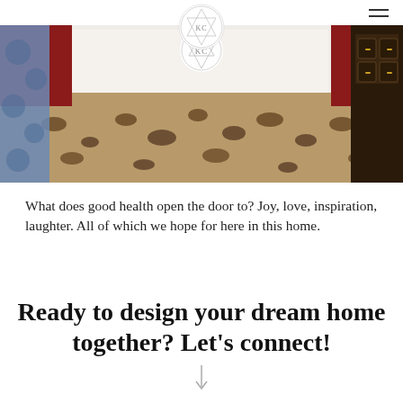KC logo and navigation
[Figure (photo): Bedroom scene showing a leopard print throw blanket on a white bed, with red headboard, blue patterned curtains on the left, and dark wooden furniture on the right. A circular logo watermark with KC initials is centered at the top of the image.]
What does good health open the door to? Joy, love, inspiration, laughter. All of which we hope for here in this home.
Ready to design your dream home together? Let's connect!